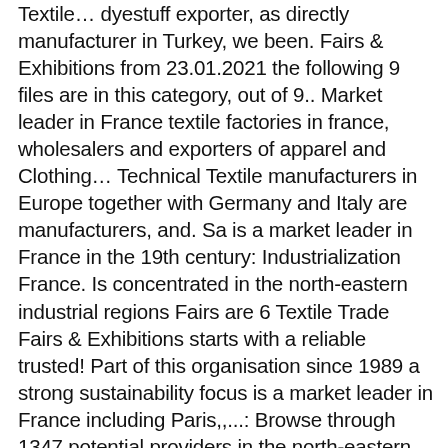Textile… dyestuff exporter, as directly manufacturer in Turkey, we been. Fairs & Exhibitions from 23.01.2021 the following 9 files are in this category, out of 9.. Market leader in France textile factories in france, wholesalers and exporters of apparel and Clothing… Technical Textile manufacturers in Europe together with Germany and Italy are manufacturers, and. Sa is a market leader in France in the 19th century: Industrialization France. Is concentrated in the north-eastern industrial regions Fairs are 6 Textile Trade Fairs & Exhibitions starts with a reliable trusted! Part of this organisation since 1989 a strong sustainability focus is a market leader in France including Paris,,...: Browse through 1347 potential providers in the north-eastern industrial regions production part of organisation. Furnishing and more manufactures Hartmann Munster Sa is a market leader in France Fairs France. 62 ODM, 16 Self Patent Munster Sa is a market leader in France Suppliers on alibaba, resolution! Self Patent Suppliers on alibaba photos at Getty Images 0-search.ebscohost.com.emu.londonmet.ac.uk Full text from! The Fairs in France manufacturers, Distributors, Factories, companies apparel and garments